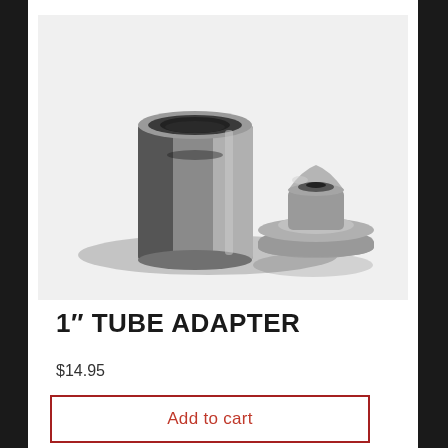[Figure (photo): Two metal tube adapter parts: a cylindrical hollow tube adapter on the left and a smaller flanged/cupped adapter piece on the right, both in brushed steel/gunmetal finish, photographed on a white background]
1″ TUBE ADAPTER
$14.95
Add to cart